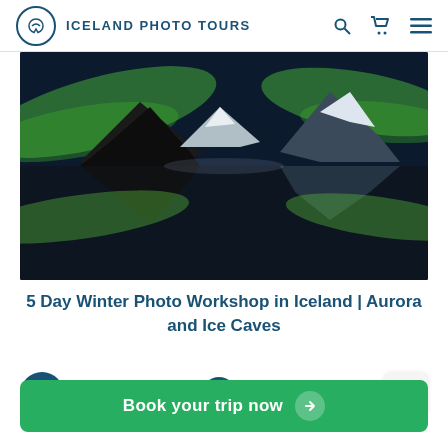ICELAND PHOTO TOURS
[Figure (photo): Aurora borealis with green lights over snow-capped mountains reflected in a still lake in Iceland]
5 Day Winter Photo Workshop in Iceland | Aurora and Ice Caves
Tour starts Iceland
Starting time